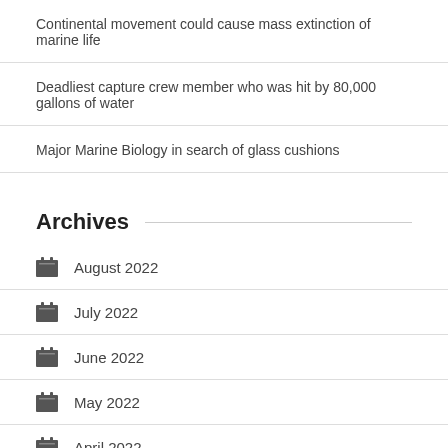Continental movement could cause mass extinction of marine life
Deadliest capture crew member who was hit by 80,000 gallons of water
Major Marine Biology in search of glass cushions
Archives
August 2022
July 2022
June 2022
May 2022
April 2022
March 2022